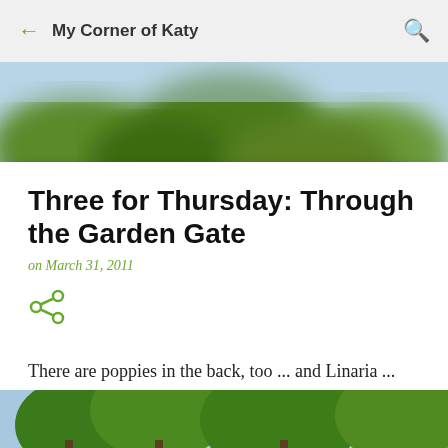My Corner of Katy
[Figure (photo): Blurred garden/landscape photo used as hero banner image, showing greenery and blue sky]
Three for Thursday: Through the Garden Gate
on March 31, 2011
There are poppies in the back, too ... and Linaria ... and Phlox
...
[Figure (photo): Outdoor photo showing tall trees with green foliage against a blue sky, partial view at bottom of page]